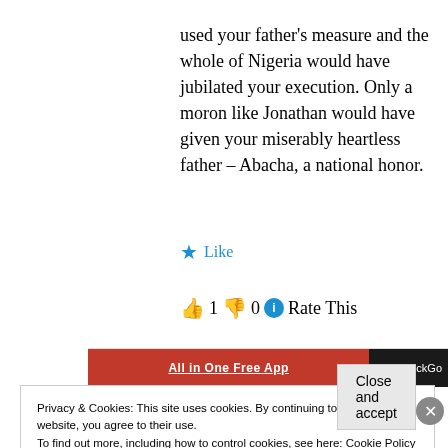used your father's measure and the whole of Nigeria would have jubilated your execution. Only a moron like Jonathan would have given your miserably heartless father – Abacha, a national honor.
★ Like
👍 1 👎 0 ℹ Rate This
[Figure (screenshot): Orange and black advertisement banner: 'All in One Free App' with DuckDuckGo branding]
REPORT THIS AD
Privacy & Cookies: This site uses cookies. By continuing to use this website, you agree to their use.
To find out more, including how to control cookies, see here: Cookie Policy
Close and accept